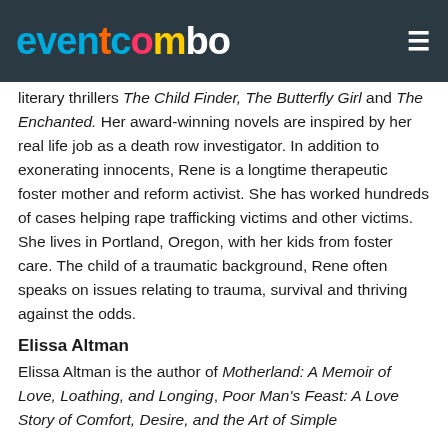EventCombo logo and navigation
literary thrillers The Child Finder, The Butterfly Girl and The Enchanted. Her award-winning novels are inspired by her real life job as a death row investigator. In addition to exonerating innocents, Rene is a longtime therapeutic foster mother and reform activist. She has worked hundreds of cases helping rape trafficking victims and other victims. She lives in Portland, Oregon, with her kids from foster care. The child of a traumatic background, Rene often speaks on issues relating to trauma, survival and thriving against the odds.
Elissa Altman
Elissa Altman is the author of Motherland: A Memoir of Love, Loathing, and Longing, Poor Man's Feast: A Love Story of Comfort, Desire, and the Art of Simple